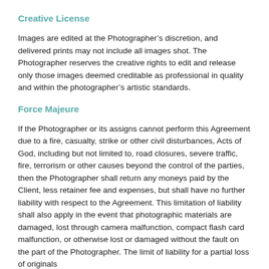Creative License
Images are edited at the Photographer’s discretion, and delivered prints may not include all images shot. The Photographer reserves the creative rights to edit and release only those images deemed creditable as professional in quality and within the photographer’s artistic standards.
Force Majeure
If the Photographer or its assigns cannot perform this Agreement due to a fire, casualty, strike or other civil disturbances, Acts of God, including but not limited to, road closures, severe traffic, fire, terrorism or other causes beyond the control of the parties, then the Photographer shall return any moneys paid by the Client, less retainer fee and expenses, but shall have no further liability with respect to the Agreement. This limitation of liability shall also apply in the event that photographic materials are damaged, lost through camera malfunction, compact flash card malfunction, or otherwise lost or damaged without the fault on the part of the Photographer. The limit of liability for a partial loss of originals